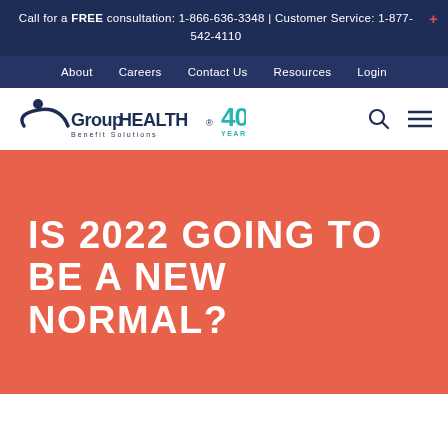Call for a FREE consultation: 1-866-636-3348 | Customer Service: 1-877-542-4110
About  Careers  Contact Us  Resources  Login
[Figure (logo): GroupHEALTH Benefit Solutions logo with 40 YEARS badge, search icon, and hamburger menu icon]
IS 2022 GOING TO BE A NEW NORMAL?